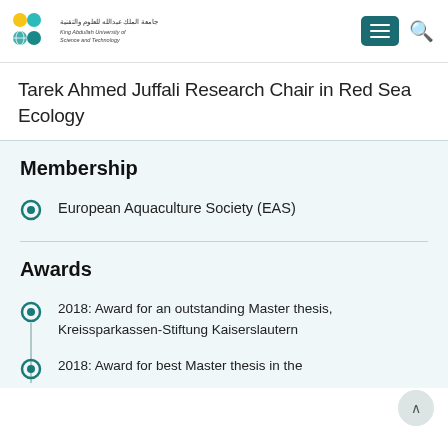King Abdullah University of Science and Technology (KAUST) — Navigation header
Tarek Ahmed Juffali Research Chair in Red Sea Ecology
Membership
European Aquaculture Society (EAS)
Awards
2018: Award for an outstanding Master thesis, Kreissparkassen-Stiftung Kaiserslautern
2018: Award for best Master thesis in the